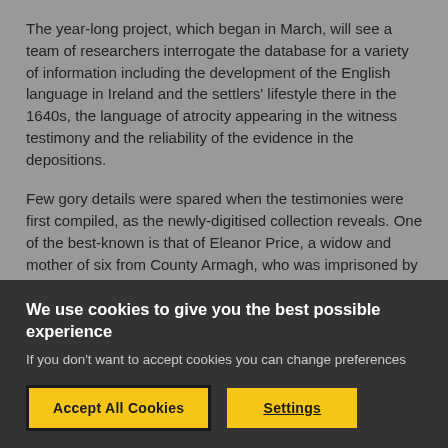The year-long project, which began in March, will see a team of researchers interrogate the database for a variety of information including the development of the English language in Ireland and the settlers' lifestyle there in the 1640s, the language of atrocity appearing in the witness testimony and the reliability of the evidence in the depositions.
Few gory details were spared when the testimonies were first compiled, as the newly-digitised collection reveals. One of the best-known is that of Eleanor Price, a widow and mother of six from County Armagh, who was imprisoned by insurgents before five of her children were drowned, along with other settlers, in the River Bann at Portadown Bridge.
We use cookies to give you the best possible experience
If you don't want to accept cookies you can change preferences